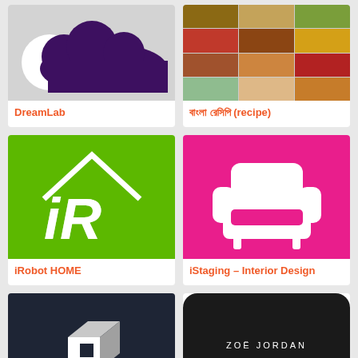[Figure (logo): DreamLab app icon with purple cloud on grey background]
DreamLab
[Figure (photo): Grid of food photos - recipe app icon]
বাংলা রেসিপি (recipe)
[Figure (logo): iRobot HOME app icon - green background with white house outline and stylized iR logo]
iRobot HOME
[Figure (logo): iStaging Interior Design app icon - pink/magenta rounded square with white armchair]
iStaging – Interior Design
[Figure (logo): Dark navy app icon with white geometric 3D cube shape]
[Figure (logo): Black rounded square with ZOE JORDAN text in white letters]